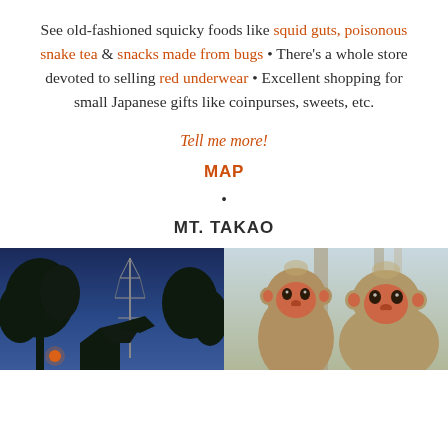See old-fashioned squicky foods like squid guts, poisonous snake tea & snacks made from bugs • There's a whole store devoted to selling red underwear • Excellent shopping for small Japanese gifts like coinpurses, sweets, etc.
Tell me more!
MAP
•
MT. TAKAO
[Figure (photo): Night/dusk photo of trees and antenna structure with blue sky]
[Figure (photo): Two Japanese macaque monkeys (snow monkeys) facing camera]